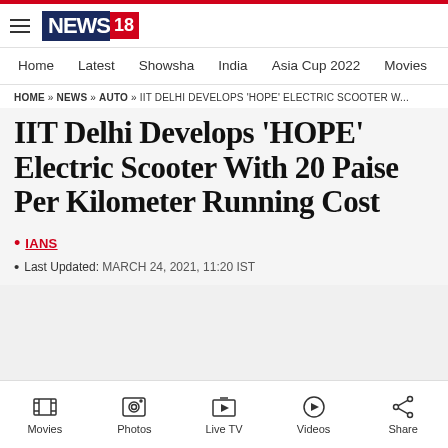NEWS18
Home | Latest | Showsha | India | Asia Cup 2022 | Movies
HOME » NEWS » AUTO » IIT DELHI DEVELOPS 'HOPE' ELECTRIC SCOOTER W...
IIT Delhi Develops 'HOPE' Electric Scooter With 20 Paise Per Kilometer Running Cost
• IANS
• Last Updated: MARCH 24, 2021, 11:20 IST
Movies | Photos | Live TV | Videos | Share